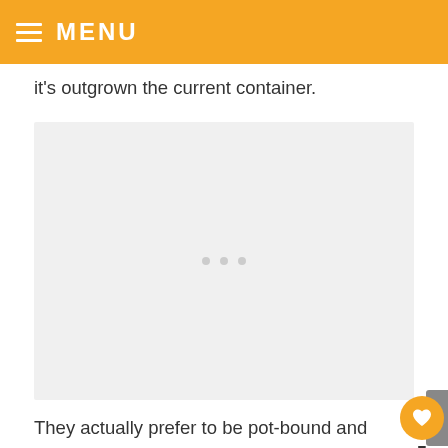MENU
it's outgrown the current container.
[Figure (photo): Large light gray image placeholder with three small gray dots centered in the lower-middle area]
They actually prefer to be pot-bound and have